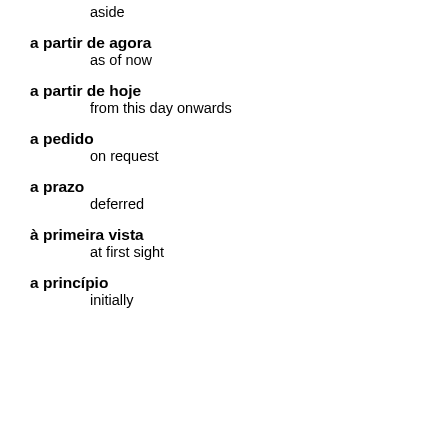aside
a partir de agora / as of now
a partir de hoje / from this day onwards
a pedido / on request
a prazo / deferred
à primeira vista / at first sight
a princípio / initially